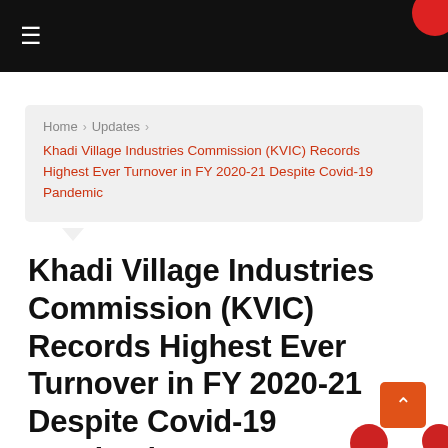≡
Home › Updates › Khadi Village Industries Commission (KVIC) Records Highest Ever Turnover in FY 2020-21 Despite Covid-19 Pandemic
Khadi Village Industries Commission (KVIC) Records Highest Ever Turnover in FY 2020-21 Despite Covid-19 Pandemic